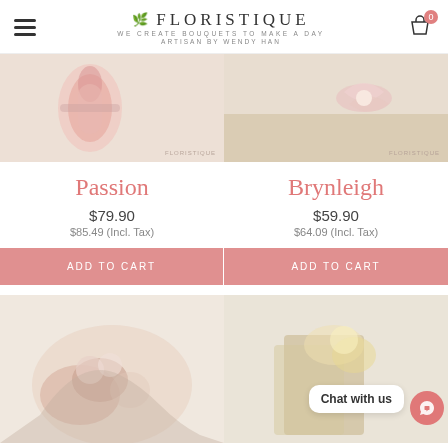FLORISTIQUE — WE CREATE BOUQUETS TO MAKE A DAY — ARTISAN BY WENDY HAN
[Figure (photo): Product photo of 'Passion' bouquet — pink wrapped flowers on light background with Floristique watermark]
[Figure (photo): Product photo of 'Brynleigh' bouquet — pink ribbon flowers on wooden surface with Floristique watermark]
Passion
Brynleigh
$79.90
$85.49 (Incl. Tax)
$59.90
$64.09 (Incl. Tax)
ADD TO CART
ADD TO CART
[Figure (photo): Bottom left product photo — bouquet with peach/pink roses and white flowers in pink wrapping]
[Figure (photo): Bottom right product photo — bouquet with yellow and white flowers, kraft paper wrapping; Chat with us bubble overlay]